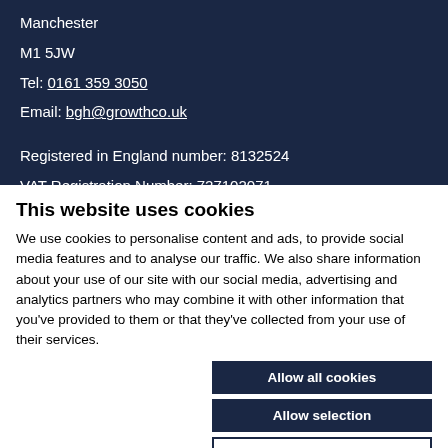Manchester
M1 5JW
Tel: 0161 359 3050
Email: bgh@growthco.uk
Registered in England number: 8132524
VAT Registration Number: 727102071
This website uses cookies
We use cookies to personalise content and ads, to provide social media features and to analyse our traffic. We also share information about your use of our site with our social media, advertising and analytics partners who may combine it with other information that you've provided to them or that they've collected from your use of their services.
Allow all cookies
Allow selection
Use necessary cookies only
Necessary  Preferences  Statistics  Marketing  Show details